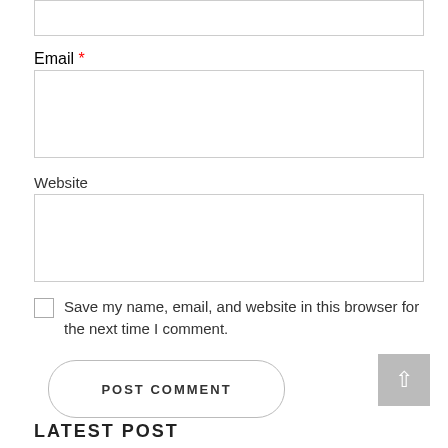Email *
Website
Save my name, email, and website in this browser for the next time I comment.
POST COMMENT
LATEST POST